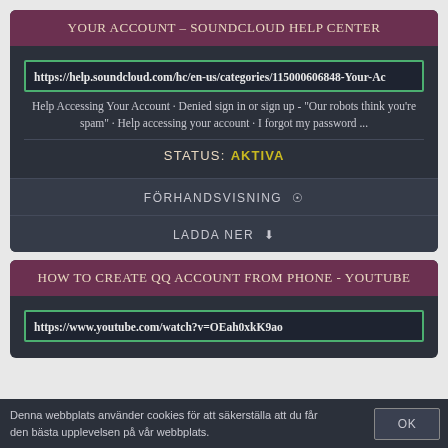YOUR ACCOUNT – SOUNDCLOUD HELP CENTER
https://help.soundcloud.com/hc/en-us/categories/115000606848-Your-Ac
Help Accessing Your Account · Denied sign in or sign up - "Our robots think you're spam" · Help accessing your account · I forgot my password ...
STATUS: AKTIVA
FÖRHANDSVISNING 👁
LADDA NER ⬇
HOW TO CREATE QQ ACCOUNT FROM PHONE - YOUTUBE
https://www.youtube.com/watch?v=OEah0xkK9ao
Denna webbplats använder cookies för att säkerställa att du får den bästa upplevelsen på vår webbplats.
OK